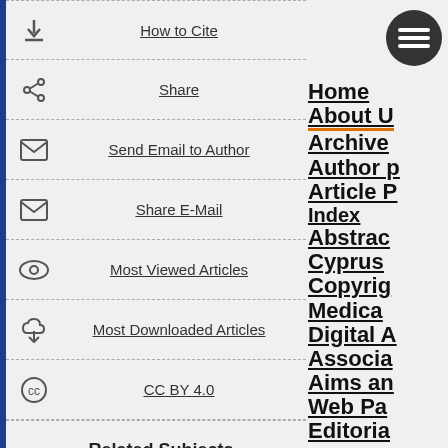How to Cite
Share
Send Email to Author
Share E-Mail
Most Viewed Articles
Most Downloaded Articles
CC BY 4.0
Related Subjects
Home About U Archive Author p Article P Index Abstrac Cyprus Copyrig Medica Digital A Associa Aims an Web Pa Editoria